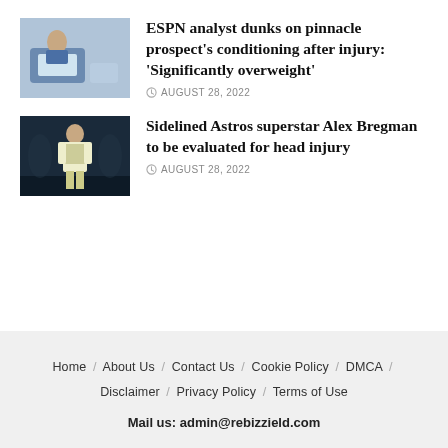[Figure (photo): Person working at laptop computer]
ESPN analyst dunks on pinnacle prospect’s conditioning after injury: ‘Significantly overweight’
AUGUST 28, 2022
[Figure (photo): Baseball player in uniform standing on field]
Sidelined Astros superstar Alex Bregman to be evaluated for head injury
AUGUST 28, 2022
Home / About Us / Contact Us / Cookie Policy / DMCA / Disclaimer / Privacy Policy / Terms of Use
Mail us: admin@rebizzield.com